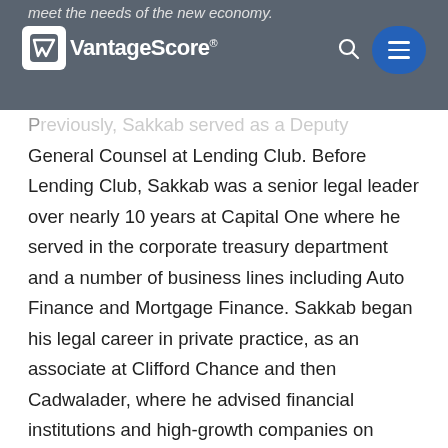VantageScore
Previously, Sakkab served as a Deputy General Counsel at Lending Club. Before Lending Club, Sakkab was a senior legal leader over nearly 10 years at Capital One where he served in the corporate treasury department and a number of business lines including Auto Finance and Mortgage Finance. Sakkab began his legal career in private practice, as an associate at Clifford Chance and then Cadwalader, where he advised financial institutions and high-growth companies on capital markets, transactional and regulatory